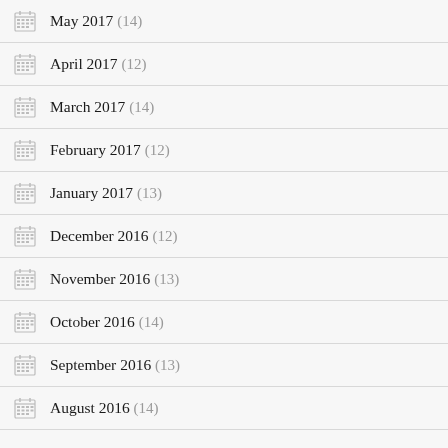May 2017 (14)
April 2017 (12)
March 2017 (14)
February 2017 (12)
January 2017 (13)
December 2016 (12)
November 2016 (13)
October 2016 (14)
September 2016 (13)
August 2016 (14)